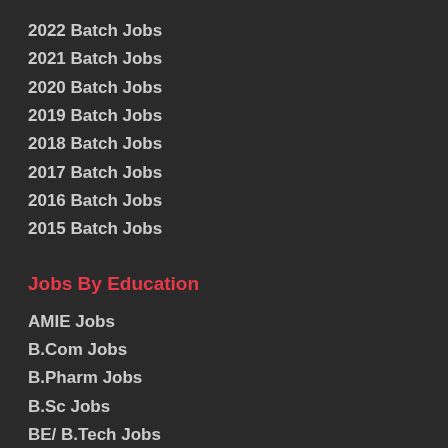2022 Batch Jobs
2021 Batch Jobs
2020 Batch Jobs
2019 Batch Jobs
2018 Batch Jobs
2017 Batch Jobs
2016 Batch Jobs
2015 Batch Jobs
Jobs By Education
AMIE Jobs
B.Com Jobs
B.Pharm Jobs
B.Sc Jobs
BE/ B.Tech Jobs
BA Jobs
BBA Jobs